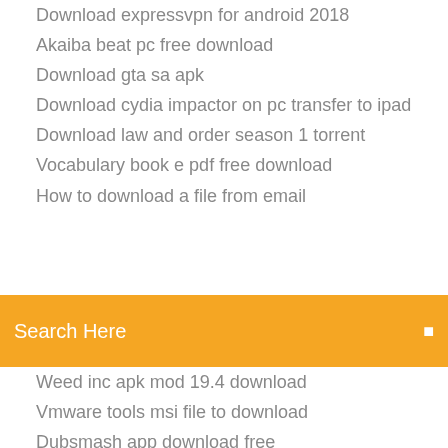Download expressvpn for android 2018
Akaiba beat pc free download
Download gta sa apk
Download cydia impactor on pc transfer to ipad
Download law and order season 1 torrent
Vocabulary book e pdf free download
How to download a file from email
Search Here
Weed inc apk mod 19.4 download
Vmware tools msi file to download
Dubsmash app download free
Download entire website files
English to persian dictionary free download for android
Super smash bros mod download pb and jeff
What happens if you dont download drivers
Free apps for iphone download
Downloade manymo para pc 32 bit
Download windows reinstall disc and drivers